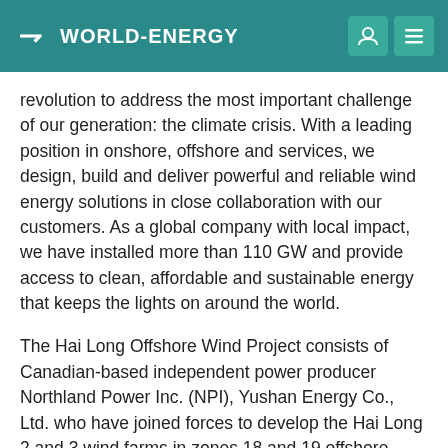WORLD-ENERGY
revolution to address the most important challenge of our generation: the climate crisis. With a leading position in onshore, offshore and services, we design, build and deliver powerful and reliable wind energy solutions in close collaboration with our customers. As a global company with local impact, we have installed more than 110 GW and provide access to clean, affordable and sustainable energy that keeps the lights on around the world.
The Hai Long Offshore Wind Project consists of Canadian-based independent power producer Northland Power Inc. (NPI), Yushan Energy Co., Ltd. who have joined forces to develop the Hai Long 2 and 3 wind farms in zones 18 and 19 offshore Changhua County.
Northland Power Inc., which has a 60% equity stake in Hai Long, is a global developer, owner and operator of